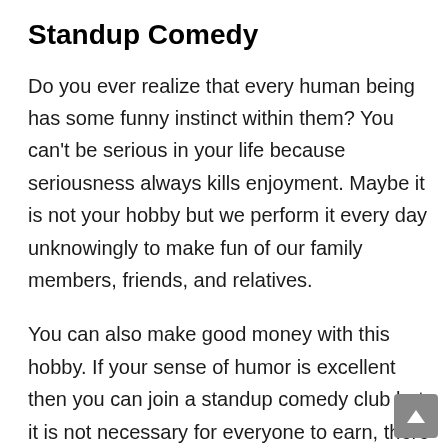Standup Comedy
Do you ever realize that every human being has some funny instinct within them? You can't be serious in your life because seriousness always kills enjoyment. Maybe it is not your hobby but we perform it every day unknowingly to make fun of our family members, friends, and relatives.
You can also make good money with this hobby. If your sense of humor is excellent then you can join a standup comedy club but it is not necessary for everyone to earn, there are so many other ways. To make some laugh is the best thing in this world and for this, you